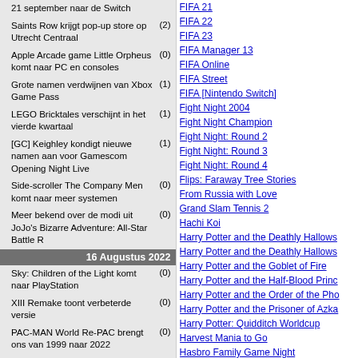21 september naar de Switch
Saints Row krijgt pop-up store op Utrecht Centraal (2)
Apple Arcade game Little Orpheus komt naar PC en consoles (0)
Grote namen verdwijnen van Xbox Game Pass (1)
LEGO Bricktales verschijnt in het vierde kwartaal (1)
[GC] Keighley kondigt nieuwe namen aan voor Gamescom Opening Night Live (1)
Side-scroller The Company Men komt naar meer systemen (0)
Meer bekend over de modi uit JoJo's Bizarre Adventure: All-Star Battle R (0)
16 Augustus 2022
Sky: Children of the Light komt naar PlayStation (0)
XIII Remake toont verbeterde versie (0)
PAC-MAN World Re-PAC brengt ons van 1999 naar 2022 (0)
Deliver Us Mars uitgesteld naar februari (0)
Sony en Ballistic Moon werken aan nieuwe game (0)
Disney en Marvel komen in september met Games Showcase (1)
Mordhau komt naar de consoles (0)
Mimir praat ons bij over God of War (0)
15 Augustus 2022
Take-Two en Weta Workshop komen met nieuwe Middle-earth game (0)
Marvel's superhelden vallen FIFA 23 binnen (1)
EPOS met back-to-school actie voor H3 Hybrid-gamingheadset (0)
Amazon verklapt mogelijk een nieuwe Avatar: The Last Airbender game (0)
Kojima werkt mogelijk aan trailer voor Gamescom (1)
Ghost of Tsushima regisseur wil volledig Japanstalige film (2)
14 Augustus 2022
Studio achter Owlboy kondigt nieuw project (1)
FIFA 21
FIFA 22
FIFA 23
FIFA Manager 13
FIFA Online
FIFA Street
FIFA [Nintendo Switch]
Fight Night 2004
Fight Night Champion
Fight Night: Round 2
Fight Night: Round 3
Fight Night: Round 4
Flips: Faraway Tree Stories
From Russia with Love
Grand Slam Tennis 2
Hachi Koi
Harry Potter and the Deathly Hallows
Harry Potter and the Deathly Hallows
Harry Potter and the Goblet of Fire
Harry Potter and the Half-Blood Prince
Harry Potter and the Order of the Phoenix
Harry Potter and the Prisoner of Azkaban
Harry Potter: Quidditch Worldcup
Harvest Mania to Go
Hasbro Family Game Night
Hasbro Family Game Night 2
Hasbro Family Game Night 3
Hasbro Family Game Night 4: The Ga
James Bond 007: Casino Royale
James Bond 007: Everything or Nothing
Knockout City
Littlest Pet Shop
Littlest Pet Shop Online
Littlest Pet Shop: Friends
LMNO
Madden NFL 16
Madden NFL 17
Madden NFL 18